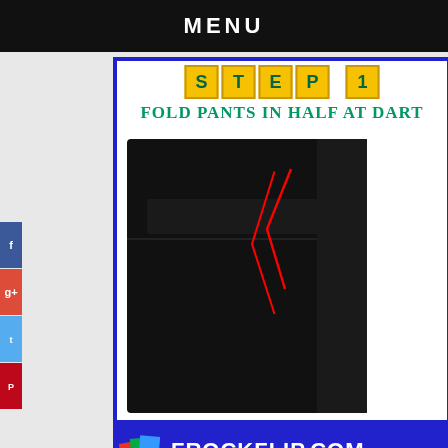MENU
[Figure (screenshot): Step 1 tile banner with yellow letter tiles spelling STEP 1]
Fold pants In Half at dart
[Figure (photo): Black pants folded, showing back pocket area with a red V-shaped annotation indicating dart location]
[Figure (logo): FrockFlip.com logo on blue background with text FASHION RECYCLER- STYLE UPCYLER-RETAIL REVISOR]
[Figure (screenshot): Partial Step 2 tile banner at bottom]